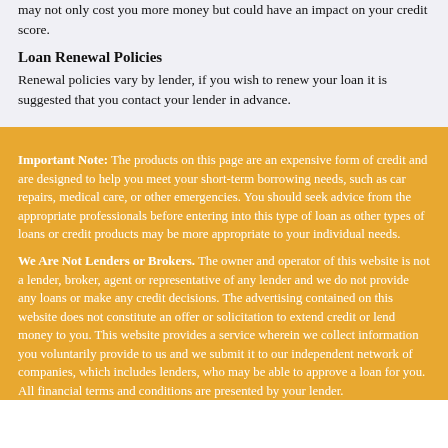may not only cost you more money but could have an impact on your credit score.
Loan Renewal Policies
Renewal policies vary by lender, if you wish to renew your loan it is suggested that you contact your lender in advance.
Important Note: The products on this page are an expensive form of credit and are designed to help you meet your short-term borrowing needs, such as car repairs, medical care, or other emergencies. You should seek advice from the appropriate professionals before entering into this type of loan as other types of loans or credit products may be more appropriate to your individual needs.
We Are Not Lenders or Brokers. The owner and operator of this website is not a lender, broker, agent or representative of any lender and we do not provide any loans or make any credit decisions. The advertising contained on this website does not constitute an offer or solicitation to extend credit or lend money to you. This website provides a service wherein we collect information you voluntarily provide to us and we submit it to our independent network of companies, which includes lenders, who may be able to approve a loan for you. All financial terms and conditions are presented by your lender.